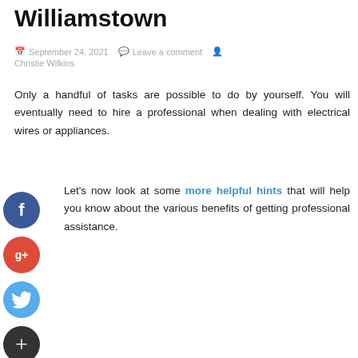Williamstown
September 24, 2021   Leave a comment   Christie Wilkins
Only a handful of tasks are possible to do by yourself. You will eventually need to hire a professional when dealing with electrical wires or appliances.
Let's now look at some more helpful hints that will help you know about the various benefits of getting professional assistance.
[Figure (infographic): Social sharing icons: Facebook (blue circle with f), Google+ (red circle with g+), Twitter (light blue circle with bird), and a dark circle with plus sign]